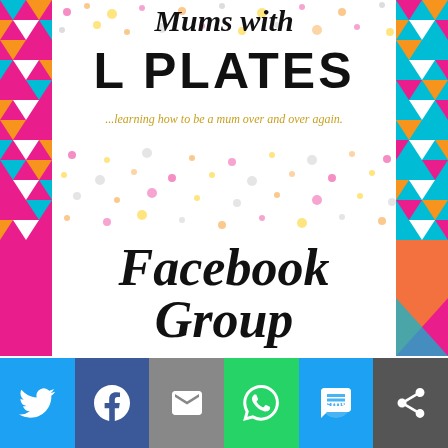[Figure (illustration): Blog header graphic for 'Mums with L Plates' with colorful triangle border decoration on sides, scattered colored dots pattern, script title text, bold 'L PLATES' text, and italic subtitle '...learning how to be a mum over and over again.' in gold]
Facebook Group
Privacy & Cookies: This site uses cookies. By continuing to use this website, you agree to their use.
To find out more, including how to control cookies, see here: Our Privacy Policy
[Figure (infographic): Social sharing bar with icons for Twitter (blue), Facebook (dark blue), Email (grey), WhatsApp (green), SMS (blue), and More (dark grey)]